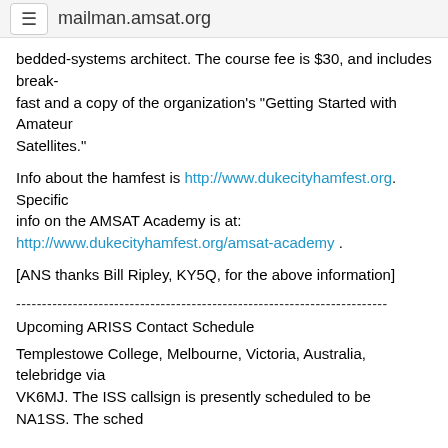mailman.amsat.org
bedded-systems architect. The course fee is $30, and includes break-fast and a copy of the organization's "Getting Started with Amateur Satellites."
Info about the hamfest is http://www.dukecityhamfest.org. Specific info on the AMSAT Academy is at: http://www.dukecityhamfest.org/amsat-academy .
[ANS thanks Bill Ripley, KY5Q, for the above information]
------------------------------------------------------------------------
Upcoming ARISS Contact Schedule
Templestowe College, Melbourne, Victoria, Australia, telebridge via VK6MJ. The ISS callsign is presently scheduled to be NA1SS. The sched